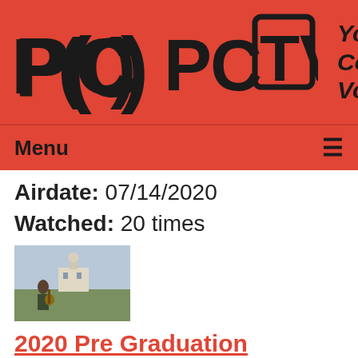[Figure (logo): PCTV logo with text 'Your Community Voice' on red background]
Menu ≡
Airdate: 07/14/2020
Watched: 20 times
[Figure (photo): Thumbnail of a person playing guitar in front of a building]
2020 Pre Graduation Video
Airdate: 06/26/2020